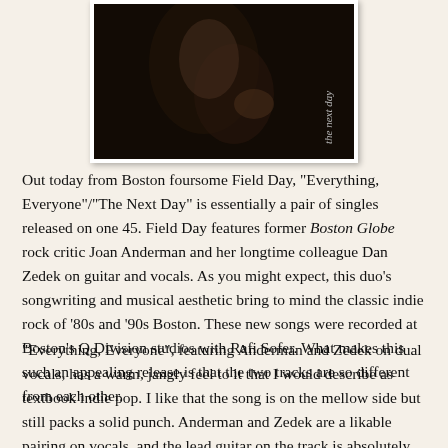[Figure (photo): A dark performance photo of a musician on stage, with text 'the next day' printed vertically in white on the right side of the image.]
Out today from Boston foursome Field Day, "Everything, Everyone"/"The Next Day" is essentially a pair of singles released on one 45. Field Day features former Boston Globe rock critic Joan Anderman and her longtime colleague Dan Zedek on guitar and vocals. As you might expect, this duo's songwriting and musical aesthetic bring to mind the classic indie rock of '80s and '90s Boston. These new songs were recorded at Boston's Q Division studios with Rafi Sofer. What makes this such an appealing release is that the two tracks are so different from each other.
"Everything, Everyone", featuring Anderman and Zedek on dual vocals, has a warm, jangly feel to it that I would describe as textbook indie pop. I like that the song is on the mellow side but still packs a solid punch. Anderman and Zedek are a likable pairing on vocals, and the lead guitar on the track is absolutely dazzling. If you fondly recall late '80s/early '90s college radio, you need this